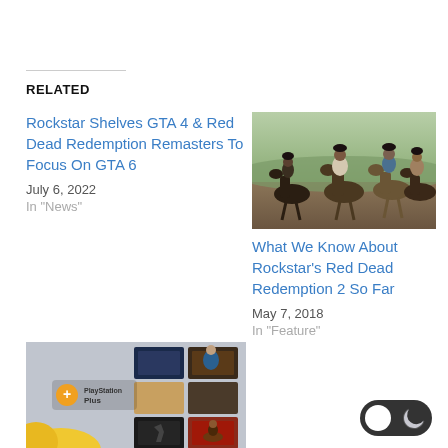RELATED
Rockstar Shelves GTA 4 & Red Dead Redemption Remasters To Focus On GTA 6
July 6, 2022
In "News"
[Figure (photo): Cowboys on horseback in a western landscape, group of riders side by side]
What We Know About Rockstar's Red Dead Redemption 2 So Far
May 7, 2018
In "Feature"
[Figure (photo): PlayStation Plus promotional image showing PlayStation Plus logo and collage of game thumbnails]
PlayStation Plus Lineup To